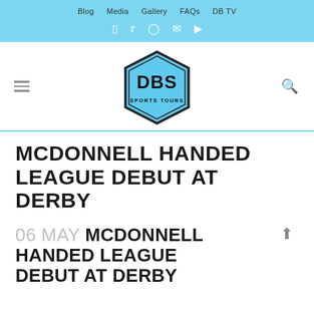Blog   Media   Gallery   FAQs   DB TV
[Figure (logo): DBS Sports Tours hexagon logo in blue]
MCDONNELL HANDED LEAGUE DEBUT AT DERBY
06 MAY MCDONNELL HANDED LEAGUE DEBUT AT DERBY